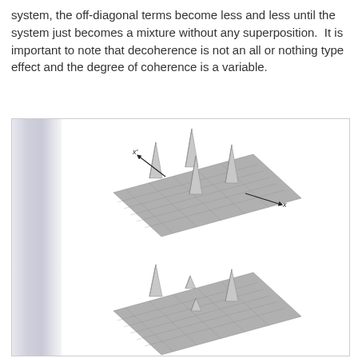system, the off-diagonal terms become less and less until the system just becomes a mixture without any superposition.  It is important to note that decoherence is not an all or nothing type effect and the degree of coherence is a variable.
[Figure (continuous-plot): Three 3D surface plots arranged vertically showing density matrix evolution during decoherence. Top plot shows four tall sharp peaks arranged in a 2x2 grid with x and x' axes labeled, representing a fully coherent superposition. Middle plot shows the same four peaks but shorter and with off-diagonal peaks reduced, representing partial decoherence. Bottom plot (partially visible) shows further reduced peaks, representing near-complete decoherence. All plots are rendered on a gray grid surface.]